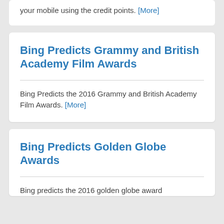your mobile using the credit points. [More]
Bing Predicts Grammy and British Academy Film Awards
Bing Predicts the 2016 Grammy and British Academy Film Awards. [More]
Bing Predicts Golden Globe Awards
Bing predicts the 2016 golden globe award